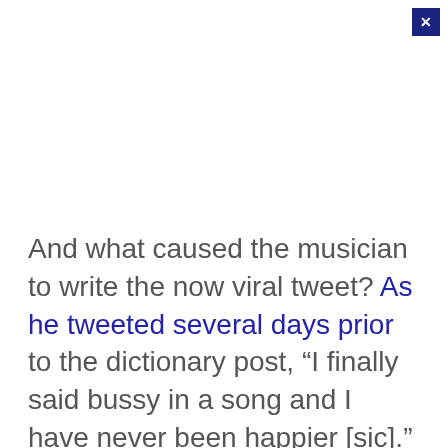And what caused the musician to write the now viral tweet? As he tweeted several days prior to the dictionary post, “I finally said bussy in a song and I have never been happier [sic].”